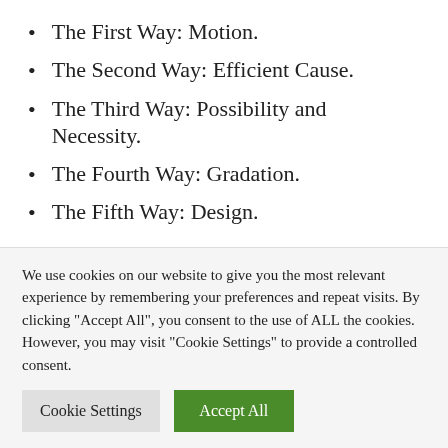The First Way: Motion.
The Second Way: Efficient Cause.
The Third Way: Possibility and Necessity.
The Fourth Way: Gradation.
The Fifth Way: Design.
What are the 3 arguments for the existence of God?
There is certainly no shortage of arguments…
We use cookies on our website to give you the most relevant experience by remembering your preferences and repeat visits. By clicking "Accept All", you consent to the use of ALL the cookies. However, you may visit "Cookie Settings" to provide a controlled consent.